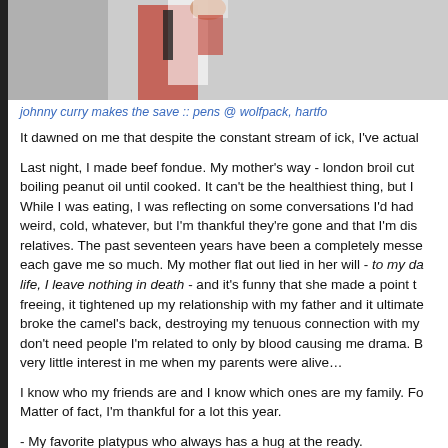[Figure (photo): Partial photo of a hockey goalie making a save, cropped to show upper portion of player in red and white uniform]
johnny curry makes the save :: pens @ wolfpack, hartford
It dawned on me that despite the constant stream of ick, I've actual
Last night, I made beef fondue. My mother's way - london broil cut boiling peanut oil until cooked. It can't be the healthiest thing, but I While I was eating, I was reflecting on some conversations I'd had weird, cold, whatever, but I'm thankful they're gone and that I'm dis relatives. The past seventeen years have been a completely messe each gave me so much. My mother flat out lied in her will - to my da life, I leave nothing in death - and it's funny that she made a point t freeing, it tightened up my relationship with my father and it ultimate broke the camel's back, destroying my tenuous connection with my don't need people I'm related to only by blood causing me drama. B very little interest in me when my parents were alive…
I know who my friends are and I know which ones are my family. Fo Matter of fact, I'm thankful for a lot this year.
- My favorite platypus who always has a hug at the ready.
- My favorite bulldozer for helping me break into the social circles I'
- My old friends who are still around and those I consider my family considered a sister and my little brother.